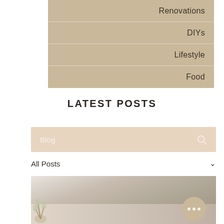Renovations
DIYs
Lifestyle
Food
LATEST POSTS
Blog
All Posts
[Figure (photo): Interior room photo showing a white wall with shelf, framed artwork, wooden door, and decorative plants. A circular chat/more button overlay appears in the bottom right.]